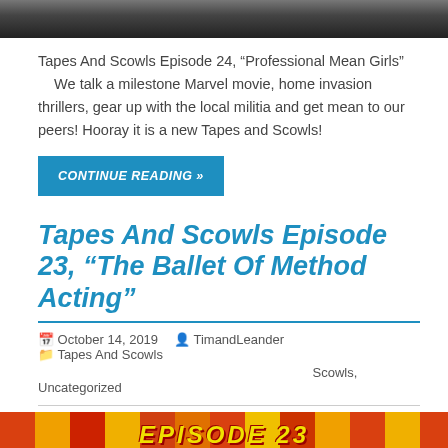[Figure (photo): Top portion of a dark image, partially cropped]
Tapes And Scowls Episode 24, “Professional Mean Girls” We talk a milestone Marvel movie, home invasion thrillers, gear up with the local militia and get mean to our peers! Hooray it is a new Tapes and Scowls!
CONTINUE READING »
Tapes And Scowls Episode 23, “The Ballet Of Method Acting”
October 14, 2019   TimandLeander   Tapes And Scowls, Uncategorized
[Figure (photo): Bottom colorful banner image with stylized text for Episode 23]